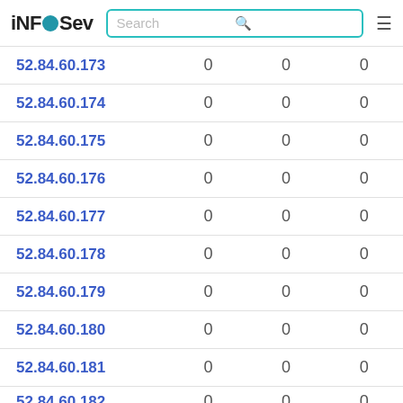iNFOSev  Search  ☰
| 52.84.60.173 | 0 | 0 | 0 |
| 52.84.60.174 | 0 | 0 | 0 |
| 52.84.60.175 | 0 | 0 | 0 |
| 52.84.60.176 | 0 | 0 | 0 |
| 52.84.60.177 | 0 | 0 | 0 |
| 52.84.60.178 | 0 | 0 | 0 |
| 52.84.60.179 | 0 | 0 | 0 |
| 52.84.60.180 | 0 | 0 | 0 |
| 52.84.60.181 | 0 | 0 | 0 |
| 52.84.60.182 | 0 | 0 | 0 |